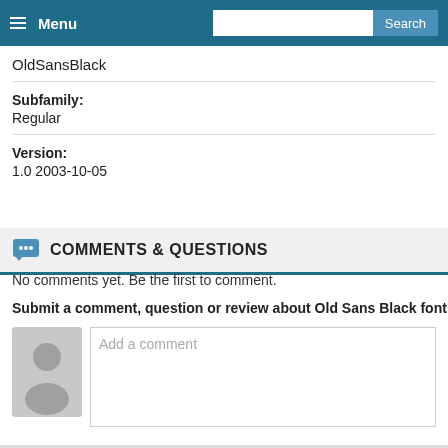Menu | Search
OldSansBlack
Subfamily:
Regular
Version:
1.0 2003-10-05
COMMENTS & QUESTIONS
No comments yet. Be the first to comment.
Submit a comment, question or review about Old Sans Black font
[Figure (other): User avatar placeholder (gray silhouette icon)]
Add a comment